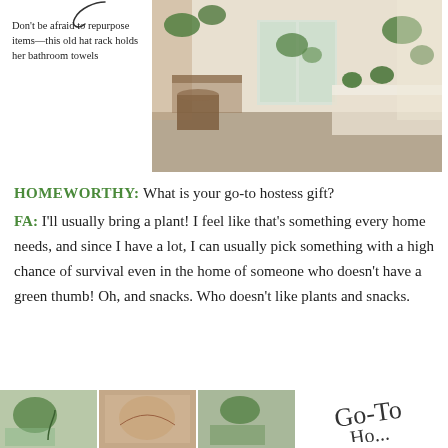[Figure (photo): Interior photo of a narrow apartment hallway/kitchen filled with many plants on shelves, hanging from walls, and on surfaces. Natural light from windows at end of corridor. White walls with eclectic decor, wicker baskets, and plants everywhere.]
Don't be afraid to repurpose items—this old hat rack holds her bathroom towels
HOMEWORTHY: What is your go-to hostess gift?
FA: I'll usually bring a plant! I feel like that's something every home needs, and since I have a lot, I can usually pick something with a high chance of survival even in the home of someone who doesn't have a green thumb! Oh, and snacks. Who doesn't like plants and snacks.
[Figure (photo): Bottom strip showing three small photos of interior home decor with plants and artwork.]
Go-To